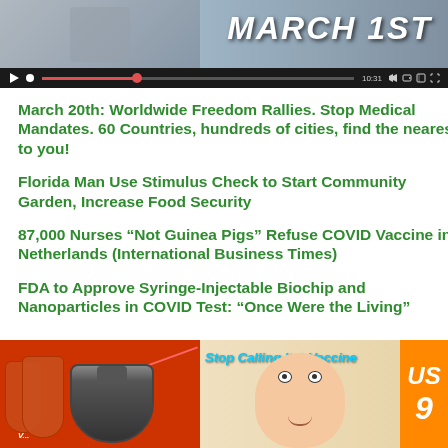[Figure (screenshot): Video thumbnail showing 'MARCH 1ST' text with video player controls showing time 10:31]
March 20th: Worldwide Freedom Rallies. Stop Medical Mandates. 60 Countries, hundreds of cities, find the nearest to you!
Florida Man Use Stimulus Check to Start Community Garden, Increase Food Security
87,000 Nurses “Not Guinea Pigs” Refuse COVID Vaccine in Netherlands (International Business Times)
FDA to Approve Syringe-Injectable Biochip and Nanoparticles in COVID Test: “Once Were the Living”
[Figure (photo): Collage of COVID-related images: vaccine vials on red background on left, woman's face with 'Stop Calling It A Vaccine' text in center, orange panel with text on right]